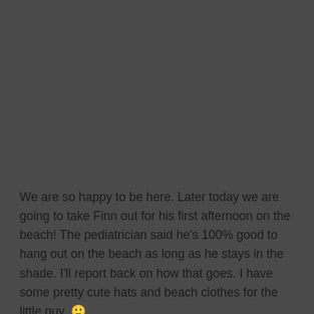We are so happy to be here. Later today we are going to take Finn out for his first afternoon on the beach! The pediatrician said he's 100% good to hang out on the beach as long as he stays in the shade. I'll report back on how that goes. I have some pretty cute hats and beach clothes for the little guy. 🙂